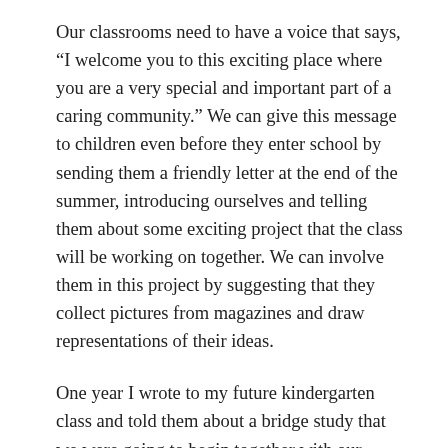Our classrooms need to have a voice that says, “I welcome you to this exciting place where you are a very special and important part of a caring community.” We can give this message to children even before they enter school by sending them a friendly letter at the end of the summer, introducing ourselves and telling them about some exciting project that the class will be working on together. We can involve them in this project by suggesting that they collect pictures from magazines and draw representations of their ideas.
One year I wrote to my future kindergarten class and told them about a bridge study that we were going to begin together with our fourth grade reading buddies. I asked the children to start collecting bridge pictures and, if they actually saw a bridge, to sketch it and bring the picture to school with them on the first day. I also wrote to the parents and began involving them in our classroom plans by sharing some of my ideas for our class study. When the children arrived on the